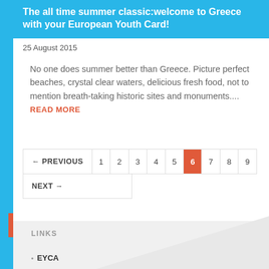The all time summer classic:welcome to Greece with your European Youth Card!
25 August 2015
No one does summer better than Greece. Picture perfect beaches, crystal clear waters, delicious fresh food, not to mention breath-taking historic sites and monuments....  READ MORE
← PREVIOUS  1  2  3  4  5  6  7  8  9
NEXT →
LINKS
EYCA